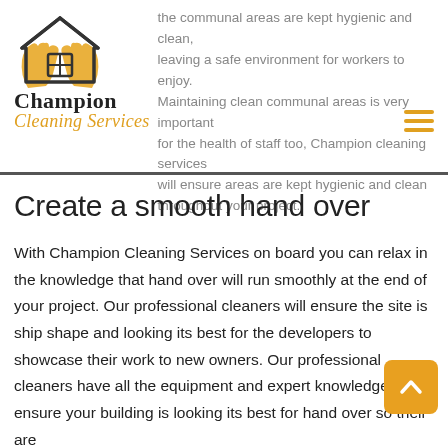[Figure (logo): Champion Cleaning Services logo: house outline with hands and windows, accompanied by text 'Champion Cleaning Services' in mixed black bold and gold italic script]
the communal areas are kept hygienic and clean, leaving a safe environment for workers to enjoy. Maintaining clean communal areas is very important for the health of staff too, Champion cleaning services will ensure areas are kept hygienic and clean throughout your project.
Create a smooth hand over
With Champion Cleaning Services on board you can relax in the knowledge that hand over will run smoothly at the end of your project. Our professional cleaners will ensure the site is ship shape and looking its best for the developers to showcase their work to new owners. Our professional cleaners have all the equipment and expert knowledge to ensure your building is looking its best for hand over so their are